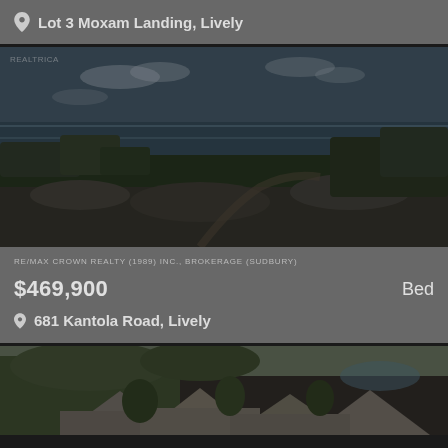Lot 3 Moxam Landing, Lively
[Figure (photo): Aerial landscape photo showing forest, rocky terrain, and a lake or river in the background under a partly cloudy sky]
RE/MAX CROWN REALTY (1989) INC., BROKERAGE (SUDBURY)
$469,900
Bed
681 Kantola Road, Lively
[Figure (photo): Aerial photo showing rooftops, trees, and landscaping of a residential property]